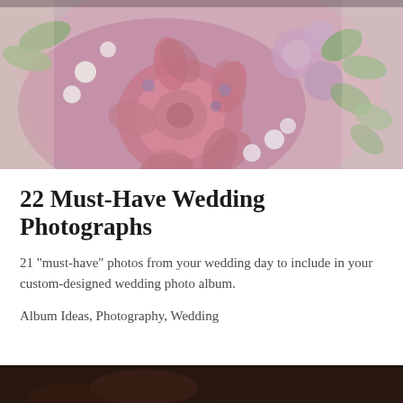[Figure (photo): Close-up photograph of a wedding bouquet with pink and mauve dahlias, white small flowers, and green eucalyptus leaves]
22 Must-Have Wedding Photographs
21 "must-have" photos from your wedding day to include in your custom-designed wedding photo album.
Album Ideas, Photography, Wedding
[Figure (photo): Partial view of a dark wedding photo, bottom of page]